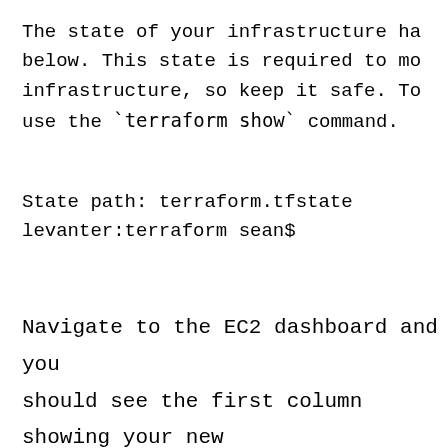The state of your infrastructure ha below. This state is required to mo infrastructure, so keep it safe. To use the `terraform show` command.
State path: terraform.tfstate
levanter:terraform sean$
Navigate to the EC2 dashboard and you should see the first column showing your new name.